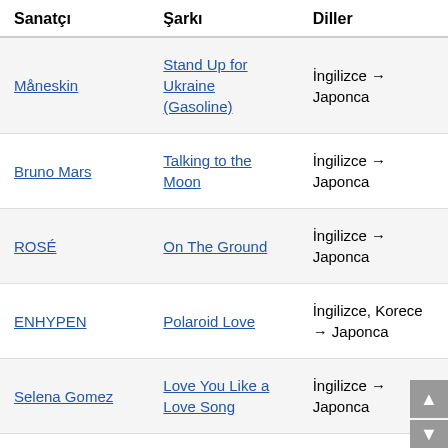| Sanatçı | Şarkı | Diller |
| --- | --- | --- |
| Måneskin | Stand Up for Ukraine (Gasoline) | İngilizce → Japonca |
| Bruno Mars | Talking to the Moon | İngilizce → Japonca |
| ROSÉ | On The Ground | İngilizce → Japonca |
| ENHYPEN | Polaroid Love | İngilizce, Korece → Japonca |
| Selena Gomez | Love You Like a Love Song | İngilizce → Japonca |
|  |  | İngilizce, |